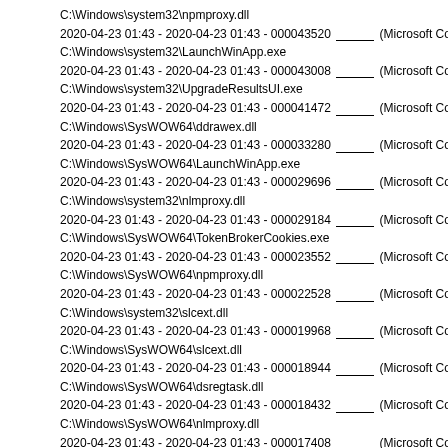C:\Windows\system32\npmproxy.dll
2020-04-23 01:43 - 2020-04-23 01:43 - 000043520 _____ (Microsoft Cor
C:\Windows\system32\LaunchWinApp.exe
2020-04-23 01:43 - 2020-04-23 01:43 - 000043008 _____ (Microsoft Cor
C:\Windows\system32\UpgradeResultsUI.exe
2020-04-23 01:43 - 2020-04-23 01:43 - 000041472 _____ (Microsoft Cor
C:\Windows\SysWOW64\ddrawex.dll
2020-04-23 01:43 - 2020-04-23 01:43 - 000033280 _____ (Microsoft Cor
C:\Windows\SysWOW64\LaunchWinApp.exe
2020-04-23 01:43 - 2020-04-23 01:43 - 000029696 _____ (Microsoft Cor
C:\Windows\system32\nlmproxy.dll
2020-04-23 01:43 - 2020-04-23 01:43 - 000029184 _____ (Microsoft Cor
C:\Windows\SysWOW64\TokenBrokerCookies.exe
2020-04-23 01:43 - 2020-04-23 01:43 - 000023552 _____ (Microsoft Cor
C:\Windows\SysWOW64\npmproxy.dll
2020-04-23 01:43 - 2020-04-23 01:43 - 000022528 _____ (Microsoft Cor
C:\Windows\system32\slcext.dll
2020-04-23 01:43 - 2020-04-23 01:43 - 000019968 _____ (Microsoft Cor
C:\Windows\SysWOW64\slcext.dll
2020-04-23 01:43 - 2020-04-23 01:43 - 000018944 _____ (Microsoft Cor
C:\Windows\SysWOW64\dsregtask.dll
2020-04-23 01:43 - 2020-04-23 01:43 - 000018432 _____ (Microsoft Cor
C:\Windows\SysWOW64\nlmproxy.dll
2020-04-23 01:43 - 2020-04-23 01:43 - 000017408 _____ (Microsoft Cor
C:\Windows\system32\nlmsprep.dll
2020-04-23 01:43 - 2020-04-23 01:43 - 000014336 _____ (Microsoft Cor
C:\Windows\SysWOW64\nlmsprep.dll
2020-04-23 01:43 - 2020-04-23 01:43 - 000010752 _____ (Microsoft Cor